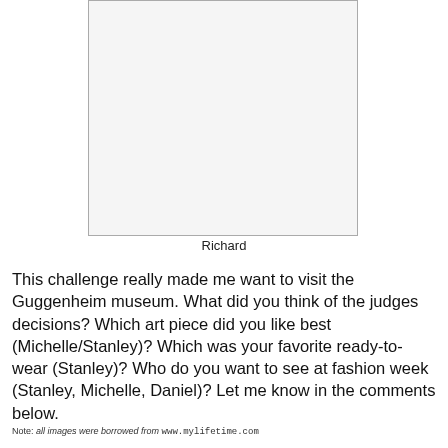[Figure (photo): A framed white/blank rectangular image with a thin border, labeled 'Richard' below it]
Richard
This challenge really made me want to visit the Guggenheim museum. What did you think of the judges decisions? Which art piece did you like best (Michelle/Stanley)? Which was your favorite ready-to-wear (Stanley)? Who do you want to see at fashion week (Stanley, Michelle, Daniel)? Let me know in the comments below.
Note: all images were borrowed from www.mylifetime.com